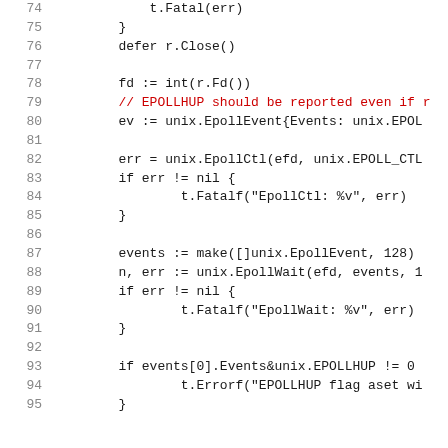[Figure (screenshot): Source code snippet in Go language showing epoll usage, lines 74-95, with line numbers in gray and a comment in red on line 79.]